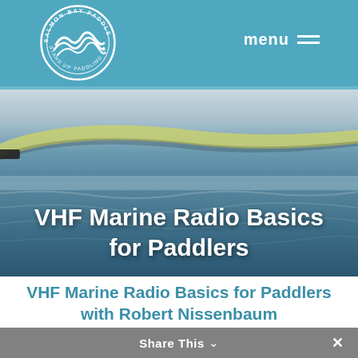Salmon Bay Paddle — Stand Up Paddling Instruction
[Figure (photo): Hero photograph of a stand-up paddleboard on calm water with blue-grey tones, overlaid with title text 'VHF Marine Radio Basics for Paddlers']
VHF Marine Radio Basics for Paddlers
VHF Marine Radio Basics for Paddlers with Robert Nissenbaum
Share This